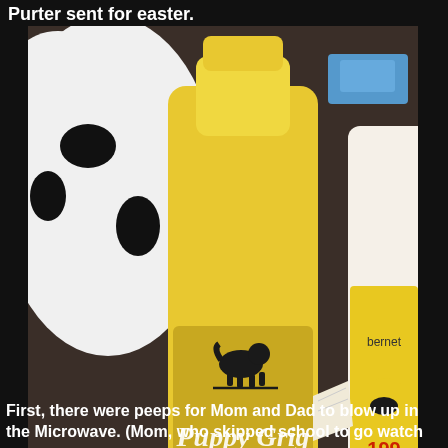Purter sent for easter.
[Figure (photo): Photo of a yellow wine bottle with a black dog silhouette and label reading 'Puppy Grigio 1983', surrounded by other items including a black-and-white stuffed animal, another bottle, and peeps candy packaging on a dark surface.]
First, there were peeps for Mom and Dad to blow up in the Microwave. (Mom, who skipped school to go watch